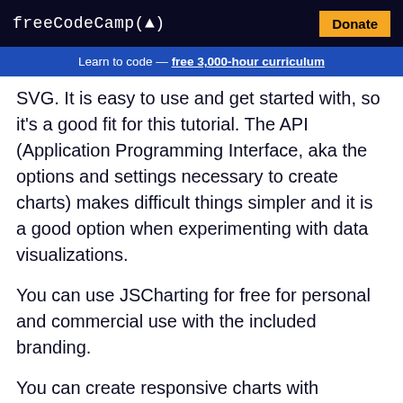freeCodeCamp(🔥)   Donate
Learn to code — free 3,000-hour curriculum
SVG. It is easy to use and get started with, so it's a good fit for this tutorial. The API (Application Programming Interface, aka the options and settings necessary to create charts) makes difficult things simpler and it is a good option when experimenting with data visualizations.
You can use JSCharting for free for personal and commercial use with the included branding.
You can create responsive charts with JSCharting through a couple simple steps: